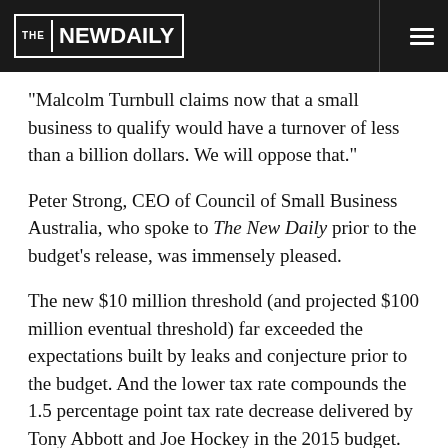THE NEW DAILY
“Malcolm Turnbull claims now that a small business to qualify would have a turnover of less than a billion dollars. We will oppose that.”
Peter Strong, CEO of Council of Small Business Australia, who spoke to The New Daily prior to the budget’s release, was immensely pleased.
The new $10 million threshold (and projected $100 million eventual threshold) far exceeded the expectations built by leaks and conjecture prior to the budget. And the lower tax rate compounds the 1.5 percentage point tax rate decrease delivered by Tony Abbott and Joe Hockey in the 2015 budget.
The immediate threshold increase will bring 870,000 new